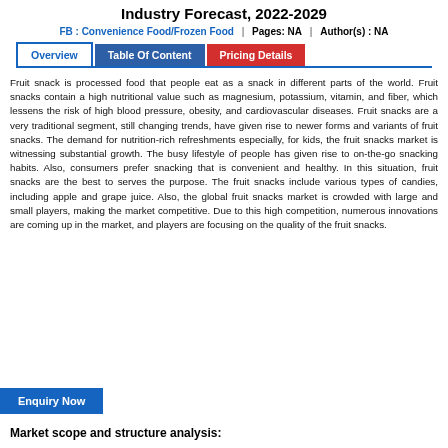Industry Forecast, 2022-2029
FB : Convenience Food/Frozen Food  |  Pages: NA  |  Author(s) : NA
Overview | Table Of Content | Pricing Details (tabs)
Fruit snack is processed food that people eat as a snack in different parts of the world. Fruit snacks contain a high nutritional value such as magnesium, potassium, vitamin, and fiber, which lessens the risk of high blood pressure, obesity, and cardiovascular diseases. Fruit snacks are a very traditional segment, still changing trends, have given rise to newer forms and variants of fruit snacks. The demand for nutrition-rich refreshments especially, for kids, the fruit snacks market is witnessing substantial growth. The busy lifestyle of people has given rise to on-the-go snacking habits. Also, consumers prefer snacking that is convenient and healthy. In this situation, fruit snacks are the best to serves the purpose. The fruit snacks include various types of candies, including apple and grape juice. Also, the global fruit snacks market is crowded with large and small players, making the market competitive. Due to this high competition, numerous innovations are coming up in the market, and players are focusing on the quality of the fruit snacks.
Enquiry Now
Market scope and structure analysis: